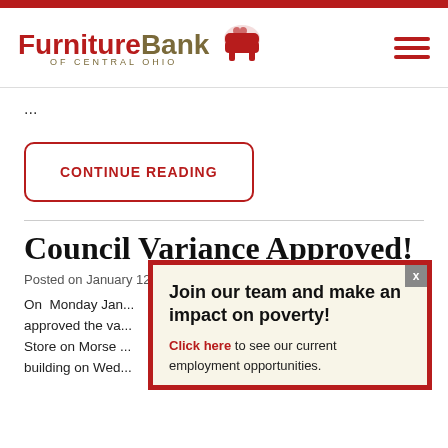Furniture Bank of Central Ohio
...
CONTINUE READING
Council Variance Approved!
Posted on January 12, 2016
On  Monday Jan... approved the va... Store on Morse... building on Wed...
Join our team and make an impact on poverty!
Click here to see our current employment opportunities.